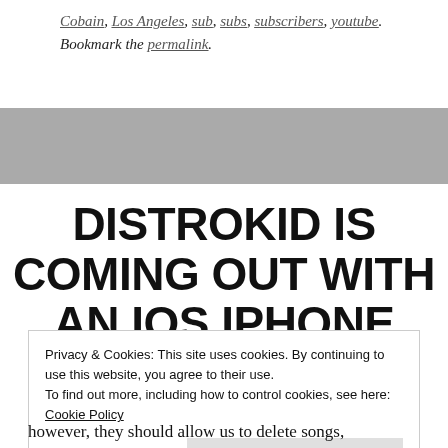Cobain, Los Angeles, sub, subs, subscribers, youtube. Bookmark the permalink.
[Figure (other): Gray horizontal banner/advertisement placeholder]
DISTROKID IS COMING OUT WITH AN IOS IPHONE APP!
Privacy & Cookies: This site uses cookies. By continuing to use this website, you agree to their use.
To find out more, including how to control cookies, see here: Cookie Policy
[Close and accept]
however, they should allow us to delete songs,